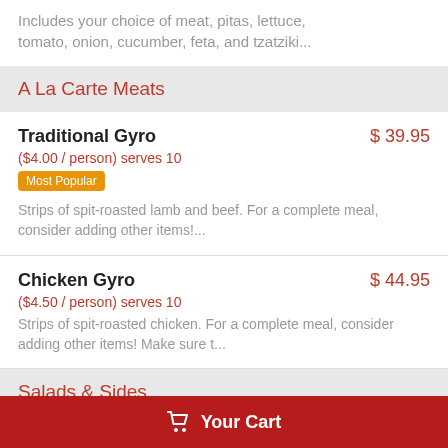Includes your choice of meat, pitas, lettuce, tomato, onion, cucumber, feta, and tzatziki...
A La Carte Meats
Traditional Gyro — $39.95 — ($4.00 / person) serves 10 — Most Popular — Strips of spit-roasted lamb and beef. For a complete meal, consider adding other items!...
Chicken Gyro — $44.95 — ($4.50 / person) serves 10 — Strips of spit-roasted chicken. For a complete meal, consider adding other items! Make sure t...
Salads & Sides
Spanakonita — $32.95
Your Cart